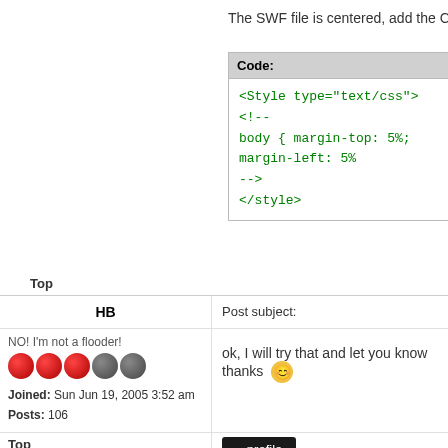The SWF file is centered, add the CSS to the
[Figure (screenshot): Code block showing CSS snippet: <Style type="text/css">, <!--, body { margin-top: 5%; margin-left: 5%, -->, </style>]
Top
HB
Post subject:
NO! I'm not a flooder!
ok, I will try that and let you know thanks
Joined: Sun Jun 19, 2005 3:52 am
Posts: 106
Top
rm249
Post subject:
No Problem